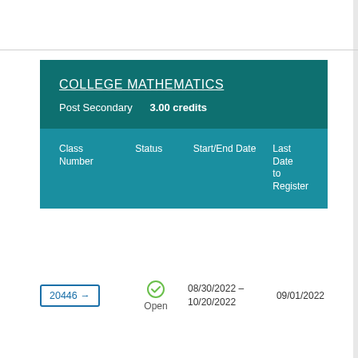COLLEGE MATHEMATICS
Post Secondary    3.00 credits
| Class Number | Status | Start/End Date | Last Date to Register |
| --- | --- | --- | --- |
| 20446 → | Open | 08/30/2022 - 10/20/2022 | 09/01/2022 |